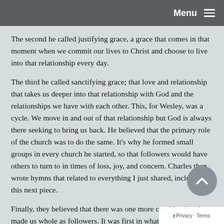Menu
The second he called justifying grace, a grace that comes in that moment when we commit our lives to Christ and choose to live into that relationship every day.
The third he called sanctifying grace; that love and relationship that takes us deeper into that relationship with God and the relationships we have with each other. This, for Wesley, was a cycle. We move in and out of that relationship but God is always there seeking to bring us back. He believed that the primary role of the church was to do the same. It's why he formed small groups in every church he started, so that followers would have others to turn to in times of loss, joy, and concern. Charles then wrote hymns that related to everything I just shared, including this next piece.
Finally, they believed that there was one more combina… that made us whole as followers. It was first in what I just…